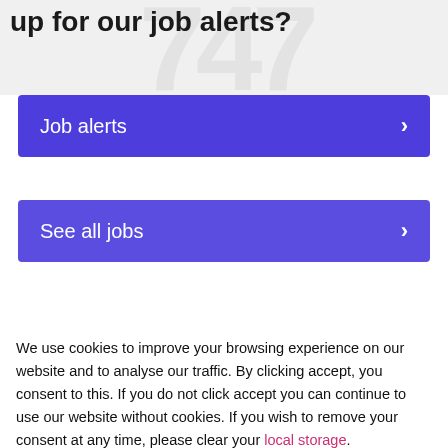up for our job alerts?
Job alerts >
See all jobs >
We use cookies to improve your browsing experience on our website and to analyse our traffic. By clicking accept, you consent to this. If you do not click accept you can continue to use our website without cookies. If you wish to remove your consent at any time, please clear your local storage.
Accept >